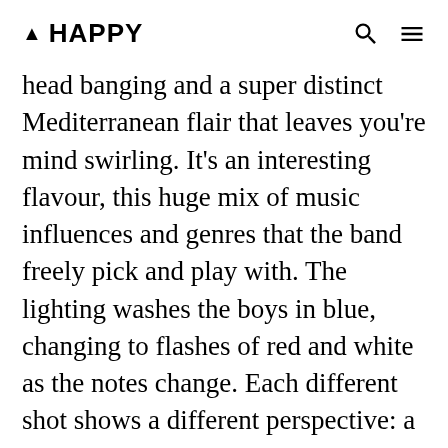▲ HAPPY
head banging and a super distinct Mediterranean flair that leaves you're mind swirling. It's an interesting flavour, this huge mix of music influences and genres that the band freely pick and play with. The lighting washes the boys in blue, changing to flashes of red and white as the notes change. Each different shot shows a different perspective: a black shadow of moshers, a sea of guitar necks, an isolated moustache. It's pretty sick how full the stage looks considering there's only 4